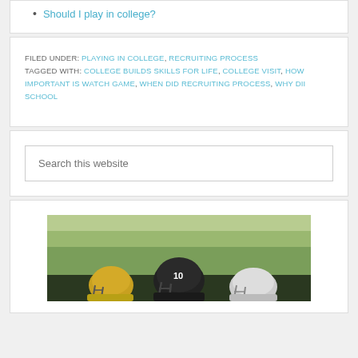Should I play in college?
FILED UNDER: PLAYING IN COLLEGE, RECRUITING PROCESS TAGGED WITH: COLLEGE BUILDS SKILLS FOR LIFE, COLLEGE VISIT, HOW IMPORTANT IS WATCH GAME, WHEN DID RECRUITING PROCESS, WHY DII SCHOOL
Search this website
[Figure (photo): Football players in helmets and uniforms on a field, background of green trees/foliage. Player #10 visible in a dark helmet.]